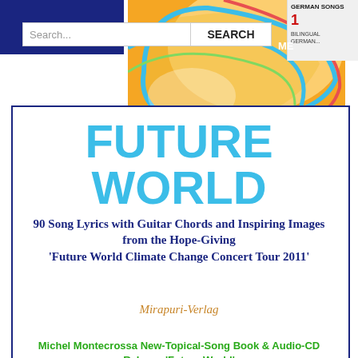[Figure (screenshot): Website screenshot showing search bar with 'Search...' placeholder and 'SEARCH' button on blue/white header]
[Figure (illustration): Colorful abstract album/book cover art with orange and teal swirling design, signed 'Mikel Montecrossa']
FUTURE WORLD
90 Song Lyrics with Guitar Chords and Inspiring Images from the Hope-Giving 'Future World Climate Change Concert Tour 2011'
Mirapuri-Verlag
Michel Montecrossa New-Topical-Song Book & Audio-CD Release 'Future World'
[Figure (illustration): Partial view of another book/album cover with red text partially visible]
Follow Michel Montecrossa on:
[Figure (logo): Social media icons: Facebook, Twitter, WordPress, Vimeo, ADC, iTunes]